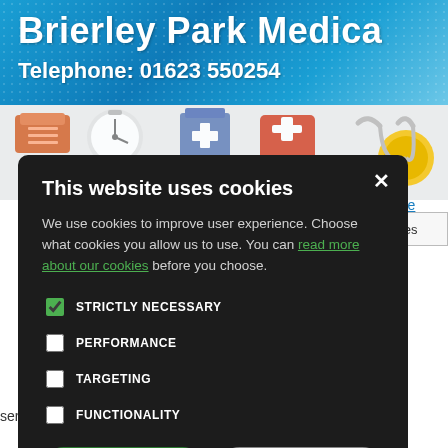Brierley Park Medica
Telephone: 01623 550254
[Figure (screenshot): Website navigation icons row showing medical-themed icons (pills, clock/timer, medicine box, medical kit, stethoscope)]
ions    Clinics & Service
Prescription Fees
prescripti
prescription in the
this page if you h
services with us. For more information visit ou
This website uses cookies
We use cookies to improve user experience. Choose what cookies you allow us to use. You can read more about our cookies before you choose.
STRICTLY NECESSARY
PERFORMANCE
TARGETING
FUNCTIONALITY
ACCEPT ALL
DECLINE ALL